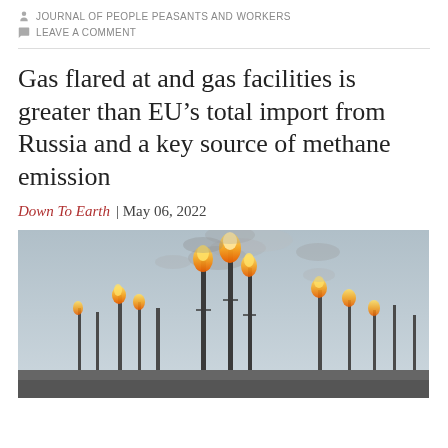JOURNAL OF PEOPLE PEASANTS AND WORKERS
LEAVE A COMMENT
Gas flared at and gas facilities is greater than EU’s total import from Russia and a key source of methane emission
Down To Earth | May 06, 2022
[Figure (photo): Industrial gas flaring facility with multiple flare stacks burning bright orange flames against a hazy grey sky, with smoke rising from the flames.]